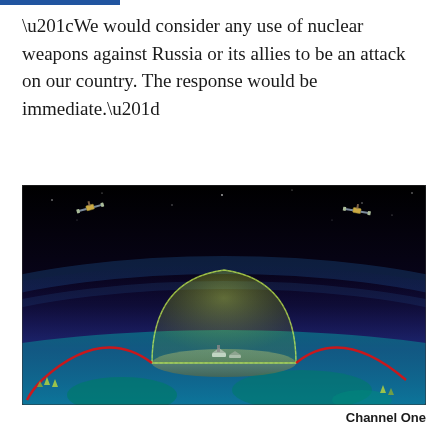“We would consider any use of nuclear weapons against Russia or its allies to be an attack on our country. The response would be immediate.”
[Figure (illustration): Animated CGI illustration showing a missile defense shield dome over Earth's surface, with two satellites in space above, red trajectory lines crossing the globe, and ships beneath the protective dome. Dark space background transitioning to blue atmosphere and teal Earth surface.]
Channel One